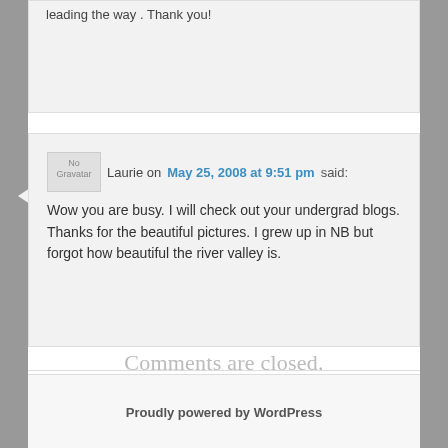leading the way . Thank you!
Laurie on May 25, 2008 at 9:51 pm said: Wow you are busy. I will check out your undergrad blogs. Thanks for the beautiful pictures. I grew up in NB but forgot how beautiful the river valley is.
Comments are closed.
Proudly powered by WordPress